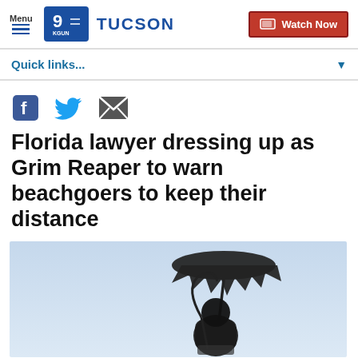Menu | 9 KGUN TUCSON | Watch Now
Quick links...
[Figure (other): Social sharing icons: Facebook, Twitter, Email]
Florida lawyer dressing up as Grim Reaper to warn beachgoers to keep their distance
[Figure (photo): Silhouette of a person dressed as the Grim Reaper holding a scythe and sitting under a ragged umbrella against a light blue sky background.]